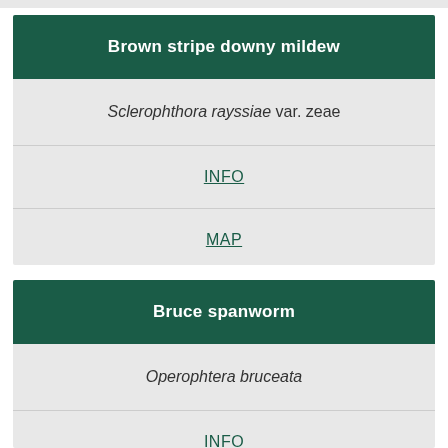Brown stripe downy mildew
Sclerophthora rayssiae var. zeae
INFO
MAP
Bruce spanworm
Operophtera bruceata
INFO